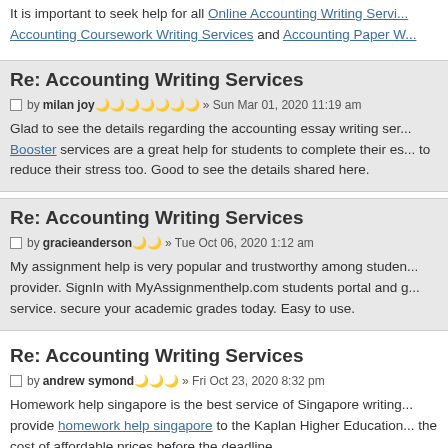It is important to seek help for all Online Accounting Writing Services, Accounting Coursework Writing Services and Accounting Paper Writing services are a great help for students to complete their essays and to reduce their stress too.
Re: Accounting Writing Services
by milan joy » Sun Mar 01, 2020 11:19 am
Glad to see the details regarding the accounting essay writing services. Booster services are a great help for students to complete their essays and to reduce their stress too. Good to see the details shared here.
Re: Accounting Writing Services
by gracieanderson » Tue Oct 06, 2020 1:12 am
My assignment help is very popular and trustworthy among students provider. SignIn with MyAssignmenthelp.com students portal and get service. secure your academic grades today. Easy to use.
Re: Accounting Writing Services
by andrew symond » Fri Oct 23, 2020 8:32 pm
Homework help singapore is the best service of Singapore writing provide homework help singapore to the Kaplan Higher Education the cost of affordable prices before the deadline.